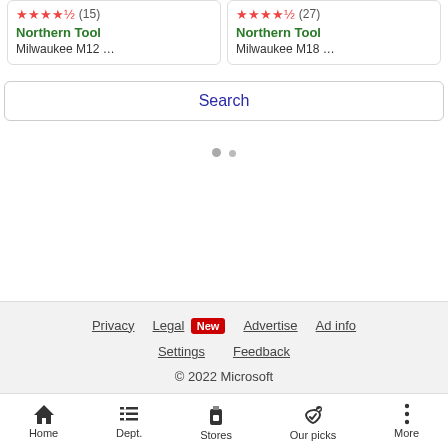[Figure (screenshot): Two product cards side by side. Left card: 4.5 star rating (15 reviews), Northern Tool, Milwaukee M12 ... Right card: 4.5 star rating (27 reviews), Northern Tool, Milwaukee M18 ...]
Search
[Figure (other): Loading indicator with two gray dots]
Privacy  Legal New  Advertise  Ad info  Settings  Feedback  © 2022 Microsoft
[Figure (other): Bottom navigation bar with Home, Dept., Stores, Our picks, More icons]